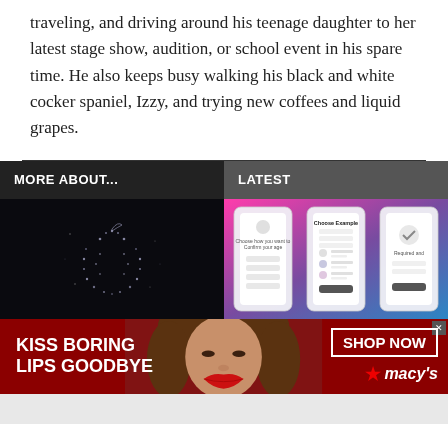traveling, and driving around his teenage daughter to her latest stage show, audition, or school event in his spare time. He also keeps busy walking his black and white cocker spaniel, Izzy, and trying new coffees and liquid grapes.
MORE ABOUT...
LATEST
[Figure (photo): Apple logo made of sparkling particles on dark background]
[Figure (screenshot): Three smartphone screens showing app setup/confirmation flow with pink/purple gradient background]
[Figure (photo): Macy's advertisement banner: 'KISS BORING LIPS GOODBYE' with woman's face and red lips, SHOP NOW button and Macy's star logo]